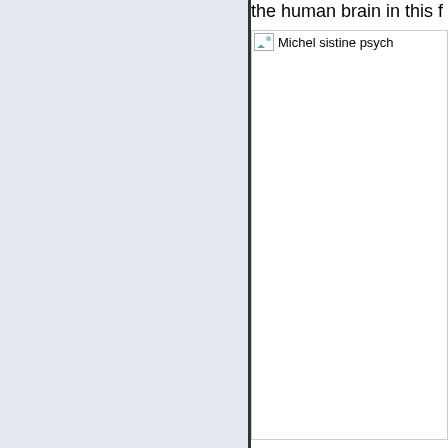the human brain in this f
[Figure (photo): Broken image placeholder for 'Michel sistine psych' — a photo related to Michelangelo's Sistine Chapel and psychology/brain topic]